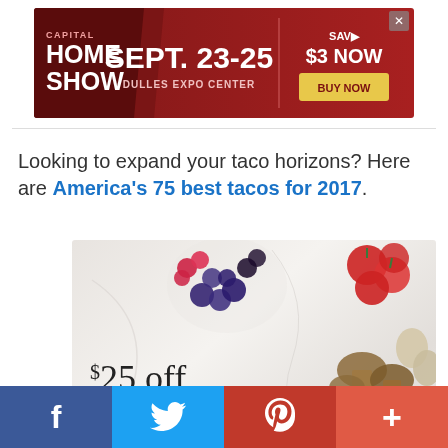[Figure (other): Capital Home Show advertisement banner: dark red background, 'CAPITAL HOME SHOW', 'SEPT. 23-25', 'DULLES EXPO CENTER', 'SAVE $3 NOW', 'BUY NOW' button]
Looking to expand your taco horizons? Here are America’s 75 best tacos for 2017.
[Figure (other): AmazonFresh advertisement: '$25 off your first order', 'Start your free trial', 'amazonfresh' logo, with food images (berries, mushrooms, tomatoes, bread, green beans) on marble background]
[Figure (other): Social media sharing bar with Facebook (blue), Twitter (light blue), Pinterest (red), and More (orange-red) buttons]